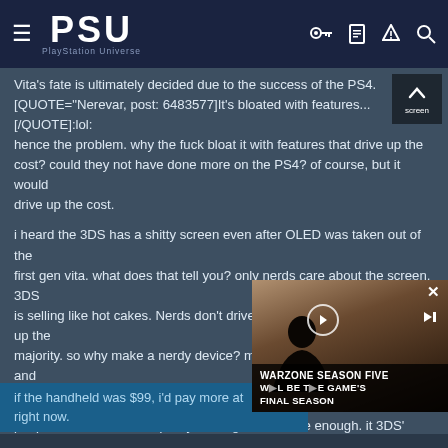PSU — PlayStation Universe
Vita's fate is ultimately decided due to the success of the PS4. [QUOTE="Nerevar, post: 6483577]It's bloated with features...[/QUOTE]:lol: hence the problem. why the fuck bloat it with features that drive up the cost? could they not have done more on the PS4? of course, but it would drive up the cost.
i heard the 3DS has a shitty screen even after OLED was taken out of the first gen vita. what does that tell you? only nerds care about the screen. 3DS is selling like hot cakes. Nerds don't drive the market, they don't make up the majority. so why make a nerdy device? make something that is efficient and works for what it is being used for.
people don't care about quality as long as it's close enough. it 3DS' screen painstaking to look at compared to the Vita screen? if not, then they're spending money on something that isn't of value to the customer. it's like PS Vita was built by a bunch of monkeys working inside Playstation division while the PS4 was left up to the professionals.
it makes no goddamn sense that they bo
if the handheld was $99, i'd pay more attention to it. something like that right now.
[Figure (screenshot): Video overlay showing Warzone Season Five promotional content with text 'WARZONE SEASON FIVE' and 'WILL BE THE GAME'S FINAL SEASON']